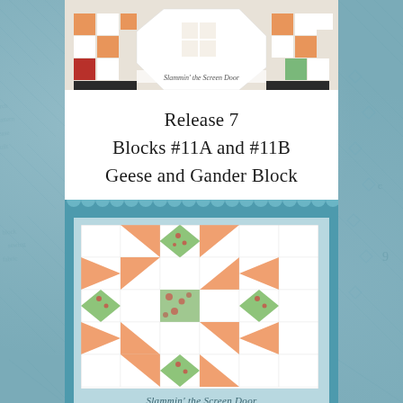[Figure (photo): Top portion of a quilt block photo showing checkered pattern with orange, red and white fabric squares on a teal decorative background]
Release 7
Blocks #11A and #11B
Geese and Gander Block
[Figure (photo): Quilt block photograph showing the Geese and Gander Block pattern with salmon/peach flying geese triangles and green floral print fabric arranged in a star/pinwheel design on white background, framed in teal with scalloped border. Caption reads: Slammin' the Screen Door]
Slammin' the Screen Door